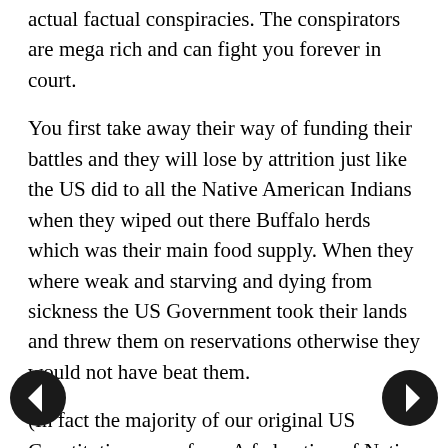actual factual conspiracies. The conspirators are mega rich and can fight you forever in court.
You first take away their way of funding their battles and they will lose by attrition just like the US did to all the Native American Indians when they wiped out there Buffalo herds which was their main food supply. When they where weak and starving and dying from sickness the US Government took their lands and threw them on reservations otherwise they would not have beat them.
(In fact the majority of our original US Constitution came from A federation of Native North American Indian Nations, the Iroquoian Nations (or Federations or something like that?) Constitution. It...